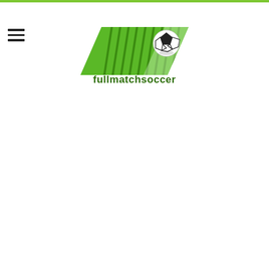[Figure (logo): Fullmatchsoccer logo: a green parallelogram with vertical lines resembling a soccer field net, a black and white soccer ball, and the text 'fullmatchsoccer' in dark green below]
[Figure (other): Hamburger menu icon: three horizontal dark lines stacked vertically on the left side of the header]